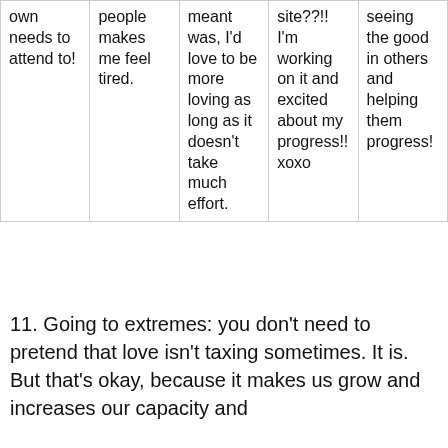| own needs to attend to! | people makes me feel tired. | meant was, I'd love to be more loving as long as it doesn't take much effort. | site??!! I'm working on it and excited about my progress!! xoxo | seeing the good in others and helping them progress! |
11. Going to extremes: you don't need to pretend that love isn't taxing sometimes. It is. But that's okay, because it makes us grow and increases our capacity and